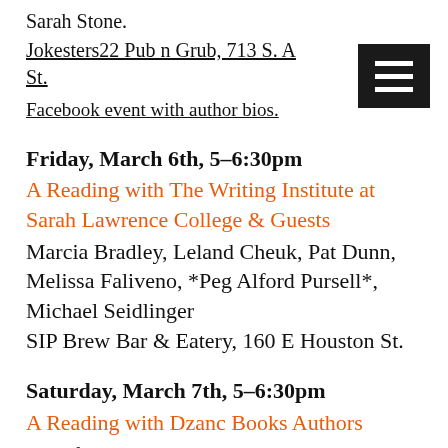Sarah Stone.
Jokesters22 Pub n Grub, 713 S. A... St.
Facebook event with author bios.
Friday, March 6th, 5–6:30pm
A Reading with The Writing Institute at Sarah Lawrence College & Guests
Marcia Bradley, Leland Cheuk, Pat Dunn, Melissa Faliveno, *Peg Alford Pursell*, Michael Seidlinger SIP Brew Bar & Eatery, 160 E Houston St.
Saturday, March 7th, 5–6:30pm
A Reading with Dzanc Books Authors
Jennifer Militello, John Domini, John Englehardt,  Lee Martin, Lisa Birnbaum, *Peg Alford Pursell*, Tina May Hall, Militia Carl...